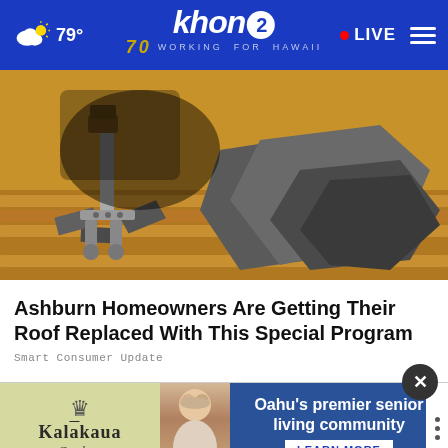79° khon2 WORKING FOR HAWAII LIVE
[Figure (photo): Close-up photo of roofing work in progress — a jack/tool on wooden boards with broken/removed shingles scattered around]
Ashburn Homeowners Are Getting Their Roof Replaced With This Special Program
Smart Consumer Update
[Figure (photo): Advertisement banner for Kalakaua Gardens senior living community with photo of elderly person]
Do you think the FBI's raid of Mar-a-Lago was justified or not